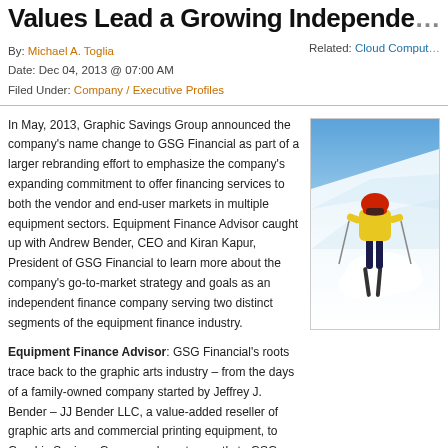Values Lead a Growing Independe…
By: Michael A. Toglia
Date: Dec 04, 2013 @ 07:00 AM
Filed Under: Company / Executive Profiles
Related: Cloud Comput…
In May, 2013, Graphic Savings Group announced the company's name change to GSG Financial as part of a larger rebranding effort to emphasize the company's expanding commitment to offer financing services to both the vendor and end-user markets in multiple equipment sectors. Equipment Finance Advisor caught up with Andrew Bender, CEO and Kiran Kapur, President of GSG Financial to learn more about the company's go-to-market strategy and goals as an independent finance company serving two distinct segments of the equipment finance industry.
[Figure (photo): Skier descending a snowy mountain slope, viewed from behind, with snow spray, bright blue sky]
Equipment Finance Advisor: GSG Financial's roots trace back to the graphic arts industry – from the days of a family-owned company started by Jeffrey J. Bender – JJ Bender LLC, a value-added reseller of graphic arts and commercial printing equipment, to Graphic Savings Group, and most recently to GSG Financial. How has your company evolved from a graphic arts and printing equipment reseller… multiple equipment types?